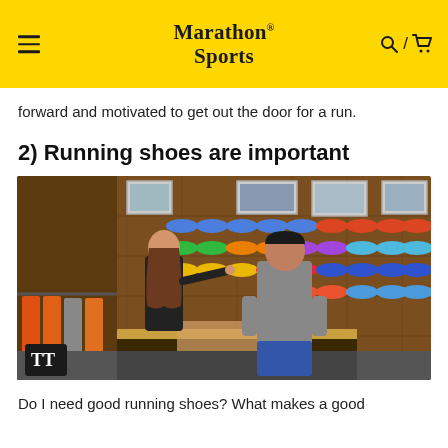Marathon Sports
forward and motivated to get out the door for a run.
2) Running shoes are important
[Figure (photo): Interior of a running shoe store. A female sales associate in a dark hoodie gestures toward a wall display of running shoes while talking to a male customer in a gray shirt. Hundreds of running shoes in various colors are mounted on a wood-paneled wall behind them. Clothing racks with orange and gray garments are visible on the left.]
Do I need good running shoes? What makes a good